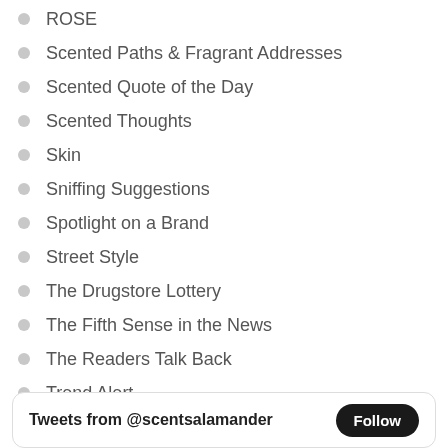ROSE
Scented Paths & Fragrant Addresses
Scented Quote of the Day
Scented Thoughts
Skin
Sniffing Suggestions
Spotlight on a Brand
Street Style
The Drugstore Lottery
The Fifth Sense in the News
The Readers Talk Back
Trend Alert
VIOLET
Visual & Scent Styling
Women Quote of the Day
Tweets from @scentsalamander  Follow